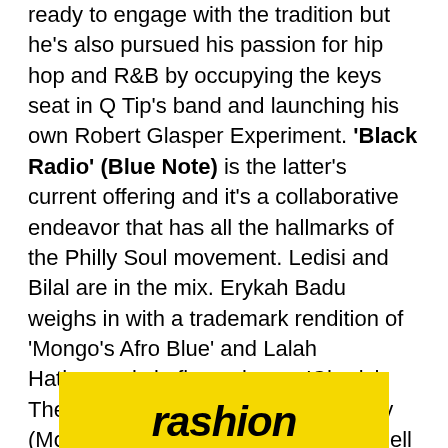ready to engage with the tradition but he's also pursued his passion for hip hop and R&B by occupying the keys seat in Q Tip's band and launching his own Robert Glasper Experiment. 'Black Radio' (Blue Note) is the latter's current offering and it's a collaborative endeavor that has all the hallmarks of the Philly Soul movement. Ledisi and Bilal are in the mix. Erykah Badu weighs in with a trademark rendition of 'Mongo's Afro Blue' and Lalah Hathaway is in fine voice on 'Cherish The Day'. Lupe Fiasco and Yasin Bay (Mos Def) drop lyrics and while Meshell gets top marks for sensuality on 'The Consequences Of Jealousy', I was definitely suckered by the combination of the brilliant Chris Dave, RG and Stukley. Overall? 'Black Radio' is a classy affair.
[Figure (photo): Partial view of a yellow background with the word 'fashion' in large bold black italic text, partially cropped at the bottom of the page.]